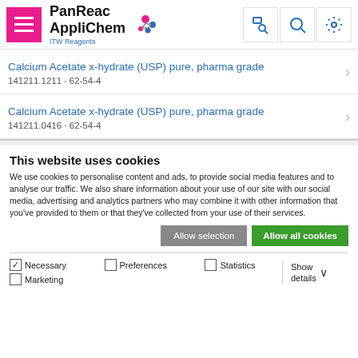[Figure (logo): PanReac AppliChem ITW Reagents logo with pink/blue molecule icon]
Calcium Acetate x-hydrate (USP) pure, pharma grade
141211.1211 · 62-54-4
Calcium Acetate x-hydrate (USP) pure, pharma grade
141211.0416 · 62-54-4
This website uses cookies
We use cookies to personalise content and ads, to provide social media features and to analyse our traffic. We also share information about your use of our site with our social media, advertising and analytics partners who may combine it with other information that you've provided to them or that they've collected from your use of their services.
Allow selection | Allow all cookies
Necessary  Preferences  Statistics  Marketing  Show details